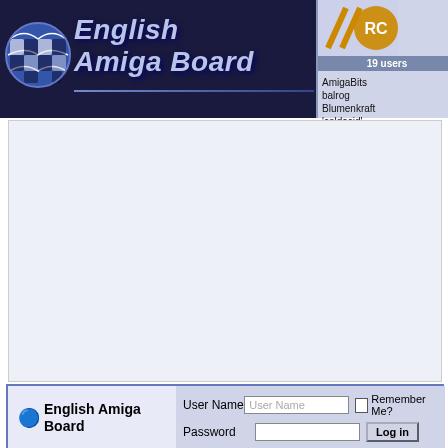[Figure (screenshot): English Amiga Board logo with globe icon and blue/dark background, IRC panel showing 19 users and names: AmigaBits, balrog, Blumenkraft, coldacid, geheimnis, gyrth]
19 users
AmigaBits
balrog
Blumenkraft
coldacid
geheimnis  gyrth
[Figure (other): Advertisement area (white/light blue box)]
English Amiga Board
User Name  [User Name]  [ ] Remember Me?
Password  [          ]  [Log in]
Register   Amiga FAQ   Rules & Help   Members List  /  Moderators List   Too
Welcome to the English Amiga Board.
If this is your first visit, be sure to check out the Amiga FAQ by clicking the link above. You may have to register before you can post: click the register link above to proceed. To start viewing messages, select the forum that you want to visit from the selection below.
|  | Forum | Last Post | Threa |
| --- | --- | --- | --- |
|  | News
Moderators... |  |  |